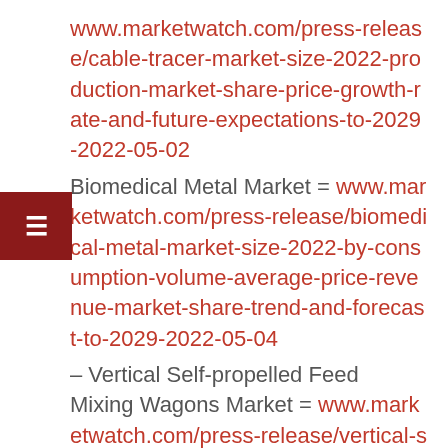www.marketwatch.com/press-release/cable-tracer-market-size-2022-production-market-share-price-growth-rate-and-future-expectations-to-2029-2022-05-02
Biomedical Metal Market = www.marketwatch.com/press-release/biomedical-metal-market-size-2022-by-consumption-volume-average-price-revenue-market-share-trend-and-forecast-to-2029-2022-05-04
– Vertical Self-propelled Feed Mixing Wagons Market = www.marketwatch.com/press-release/vertical-self-propelled-feed-mixing-wagons-market-size-2022-analysis-by-strategies-to-boost-growth-manufactures-types-applications-status-and-outlook-to-2024-research-report-2022-